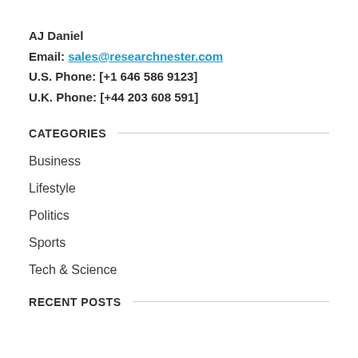AJ Daniel
Email: sales@researchnester.com
U.S. Phone: [+1 646 586 9123]
U.K. Phone: [+44 203 608 591]
CATEGORIES
Business
Lifestyle
Politics
Sports
Tech & Science
RECENT POSTS